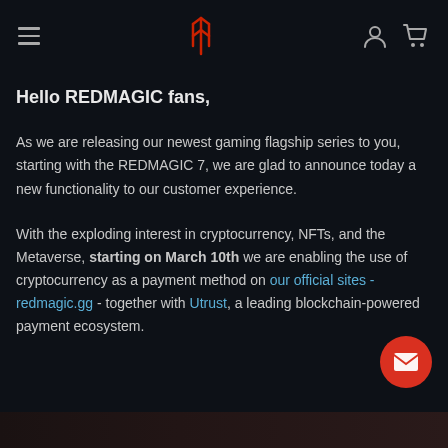REDMAGIC navigation bar with hamburger menu, logo, user icon, and cart icon
Hello REDMAGIC fans,
As we are releasing our newest gaming flagship series to you, starting with the REDMAGIC 7, we are glad to announce today a new functionality to our customer experience.
With the exploding interest in cryptocurrency, NFTs, and the Metaverse, starting on March 10th we are enabling the use of cryptocurrency as a payment method on our official sites - redmagic.gg - together with Utrust, a leading blockchain-powered payment ecosystem.
[Figure (other): Partially visible image strip at the bottom of the page]